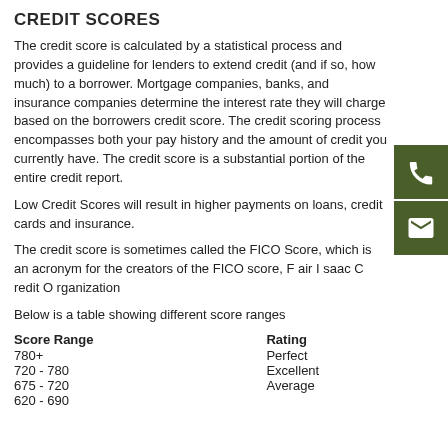CREDIT SCORES
The credit score is calculated by a statistical process and provides a guideline for lenders to extend credit (and if so, how much) to a borrower. Mortgage companies, banks, and insurance companies determine the interest rate they will charge based on the borrowers credit score. The credit scoring process encompasses both your pay history and the amount of credit you currently have. The credit score is a substantial portion of the entire credit report.
Low Credit Scores will result in higher payments on loans, credit cards and insurance.
The credit score is sometimes called the FICO Score, which is an acronym for the creators of the FICO score, F air I saac C redit O rganization
Below is a table showing different score ranges
| Score Range | Rating |
| --- | --- |
| 780+ | Perfect |
| 720 - 780 | Excellent |
| 675 - 720 | Average |
| 620 - 690 |  |